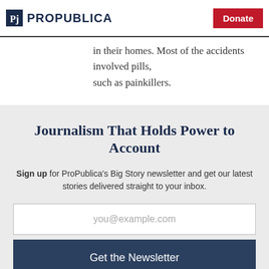ProPublica | Donate
in their homes. Most of the accidents involved pills, such as painkillers.
Journalism That Holds Power to Account
Sign up for ProPublica's Big Story newsletter and get our latest stories delivered straight to your inbox.
you@example.com
Get the Newsletter
No thanks, I'm all set
This site is protected by reCAPTCHA and the Google Privacy Policy and Terms of Service apply.